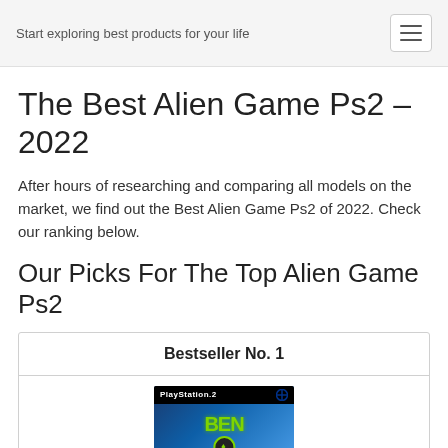Start exploring best products for your life
The Best Alien Game Ps2 – 2022
After hours of researching and comparing all models on the market, we find out the Best Alien Game Ps2 of 2022. Check our ranking below.
Our Picks For The Top Alien Game Ps2
Bestseller No. 1
[Figure (photo): PlayStation 2 Ben 10 game cover with blue swirling background and green Ben 10 logo]